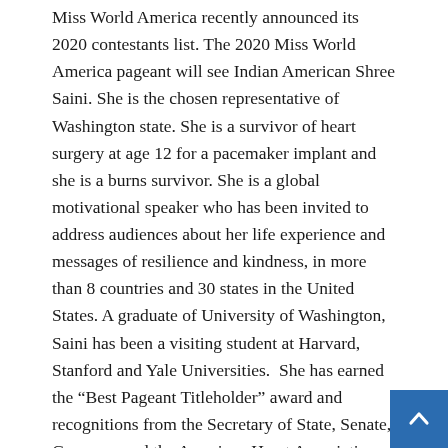Miss World America recently announced its 2020 contestants list. The 2020 Miss World America pageant will see Indian American Shree Saini. She is the chosen representative of Washington state. She is a survivor of heart surgery at age 12 for a pacemaker implant and she is a burns survivor. She is a global motivational speaker who has been invited to address audiences about her life experience and messages of resilience and kindness, in more than 8 countries and 30 states in the United States. A graduate of University of Washington, Saini has been a visiting student at Harvard, Stanford and Yale Universities. She has earned the “Best Pageant Titleholder” award and recognitions from the Secretary of State, Senate, Governor and the American Heart Association CEO. Miss World has fund...